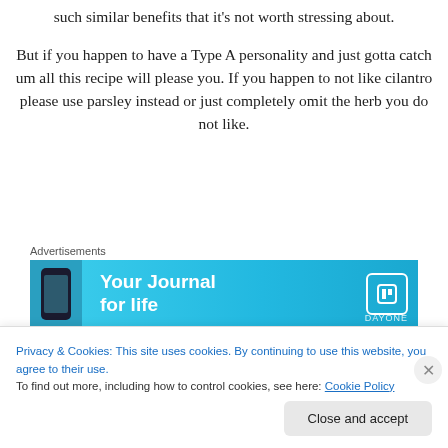such similar benefits that it's not worth stressing about.
But if you happen to have a Type A personality and just gotta catch um all this recipe will please you. If you happen to not like cilantro please use parsley instead or just completely omit the herb you do not like.
[Figure (infographic): Advertisement banner for 'Your Journal for life' app (Day One) with a blue gradient background, phone image on left, and white text.]
Spinach just so happens to be at times considered an herb also and out of everything used this is the ingredient
Privacy & Cookies: This site uses cookies. By continuing to use this website, you agree to their use.
To find out more, including how to control cookies, see here: Cookie Policy
Close and accept